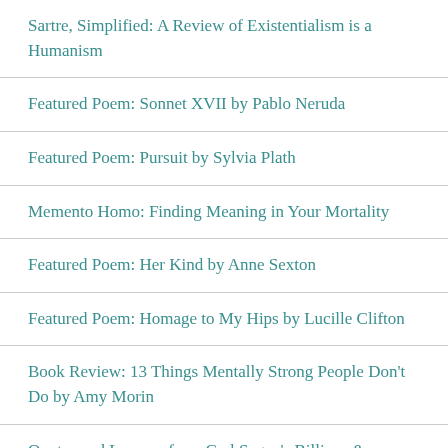Sartre, Simplified: A Review of Existentialism is a Humanism
Featured Poem: Sonnet XVII by Pablo Neruda
Featured Poem: Pursuit by Sylvia Plath
Memento Homo: Finding Meaning in Your Mortality
Featured Poem: Her Kind by Anne Sexton
Featured Poem: Homage to My Hips by Lucille Clifton
Book Review: 13 Things Mentally Strong People Don't Do by Amy Morin
Quotes and Lessons from Carl Sagan's Billions &